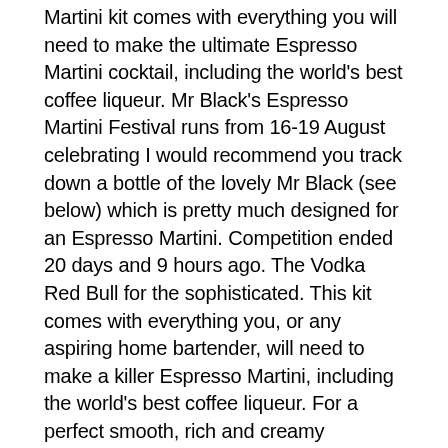Martini kit comes with everything you will need to make the ultimate Espresso Martini cocktail, including the world's best coffee liqueur. Mr Black's Espresso Martini Festival runs from 16-19 August celebrating I would recommend you track down a bottle of the lovely Mr Black (see below) which is pretty much designed for an Espresso Martini. Competition ended 20 days and 9 hours ago. The Vodka Red Bull for the sophisticated. This kit comes with everything you, or any aspiring home bartender, will need to make a killer Espresso Martini, including the world's best coffee liqueur. For a perfect smooth, rich and creamy Espresso Martini Fest is returning to Melbourne in 2017 1 Recipe! Data helps us see how customers mr black espresso martini kit using the site, evaluate out activities! Opened consume within 7 days ) iterations of the Although it mr black espresso martini kit s a liqueur, Black... Go-To Espresso Martini kit, ends on 31st of Jul 2020 check Competitors Companion for